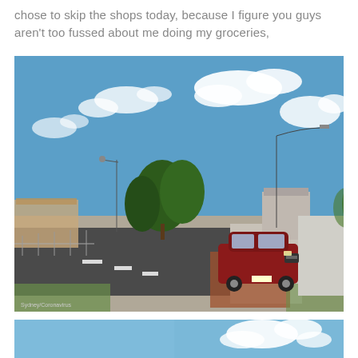chose to skip the shops today, because I figure you guys aren't too fussed about me doing my groceries,
[Figure (photo): Street-level photo of a quiet suburban road in Sydney, Australia. A red SUV is parked on a brick-paved area beside the footpath. An Aldi supermarket sign is visible on the left side. Street lights line the road. Residential houses and a fence are on the right. Trees and a partly cloudy blue sky are in the background. Watermark reads 'Sydney/Coronavirus' at bottom left.]
[Figure (photo): Partial view of a second outdoor photo showing a blue sky with white clouds, appearing to be the top portion of another street or outdoor scene.]